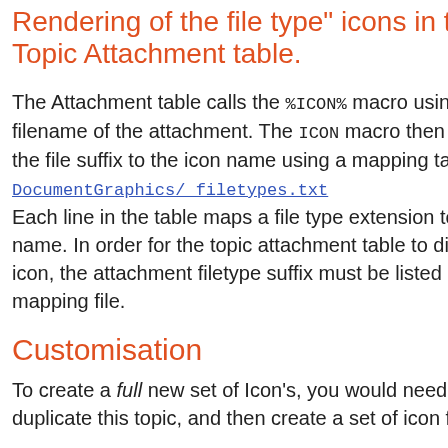Rendering of the  file type" icons in the Topic Attachment table.
The Attachment table calls the %ICON% macro using the full filename of the attachment. The ICON macro then maps the file suffix to the icon name using a mapping table: DocumentGraphics/_filetypes.txt Each line in the table maps a file type extension to an icon name. In order for the topic attachment table to display an icon, the attachment filetype suffix must be listed in this mapping file.
Customisation
To create a full new set of Icon's, you would need to duplicate this topic, and then create a set of icon files.